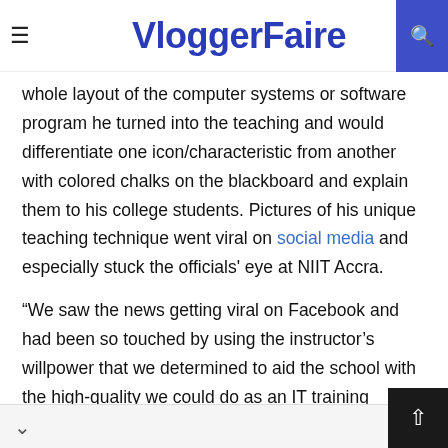VloggerFaire
whole layout of the computer systems or software program he turned into the teaching and would differentiate one icon/characteristic from another with colored chalks on the blackboard and explain them to his college students. Pictures of his unique teaching technique went viral on social media and especially stuck the officials' eye at NIIT Accra.
“We saw the news getting viral on Facebook and had been so touched by using the instructor’s willpower that we determined to aid the school with the high-quality we could do as an IT training business enterprise. We took a printout of the publish and discussed the matter with our institution CEO Kapil Gupta. He is the only one who